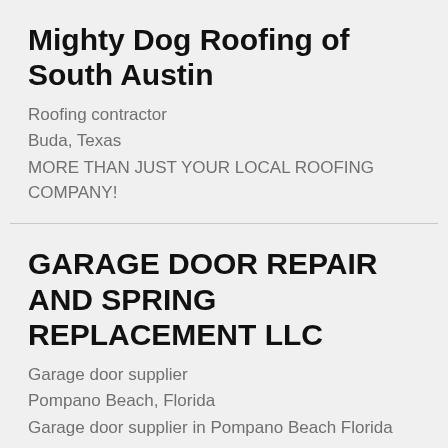Mighty Dog Roofing of South Austin
Roofing contractor
Buda, Texas
MORE THAN JUST YOUR LOCAL ROOFING COMPANY!
GARAGE DOOR REPAIR AND SPRING REPLACEMENT LLC
Garage door supplier
Pompano Beach, Florida
Garage door supplier in Pompano Beach Florida